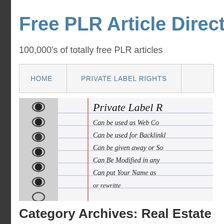Free PLR Article Directo
100,000's of totally free PLR articles
[Figure (screenshot): Navigation bar with HOME and PRIVATE LABEL RIGHTS menu items on a light gray background with border]
[Figure (photo): Spiral notebook with handwritten text showing Private Label R[ights], Can be used as Web Co[ntent], Can be used for Backlink[s], Can be given away or So[ld], Can Be Modified in any[way], Can put Your Name as [author], [Can be] rewritten]
Category Archives: Real Estate